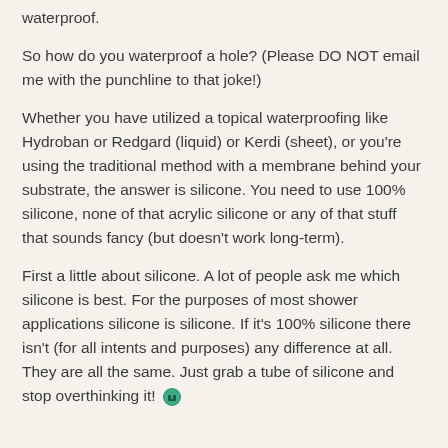waterproof.
So how do you waterproof a hole? (Please DO NOT email me with the punchline to that joke!)
Whether you have utilized a topical waterproofing like Hydroban or Redgard (liquid) or Kerdi (sheet), or you're using the traditional method with a membrane behind your substrate, the answer is silicone. You need to use 100% silicone, none of that acrylic silicone or any of that stuff that sounds fancy (but doesn't work long-term).
First a little about silicone. A lot of people ask me which silicone is best. For the purposes of most shower applications silicone is silicone. If it's 100% silicone there isn't (for all intents and purposes) any difference at all. They are all the same. Just grab a tube of silicone and stop overthinking it! 🎯